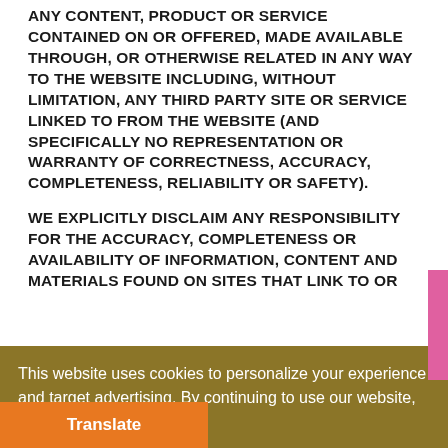ANY CONTENT, PRODUCT OR SERVICE CONTAINED ON OR OFFERED, MADE AVAILABLE THROUGH, OR OTHERWISE RELATED IN ANY WAY TO THE WEBSITE INCLUDING, WITHOUT LIMITATION, ANY THIRD PARTY SITE OR SERVICE LINKED TO FROM THE WEBSITE (AND SPECIFICALLY NO REPRESENTATION OR WARRANTY OF CORRECTNESS, ACCURACY, COMPLETENESS, RELIABILITY OR SAFETY).
WE EXPLICITLY DISCLAIM ANY RESPONSIBILITY FOR THE ACCURACY, COMPLETENESS OR AVAILABILITY OF INFORMATION, CONTENT AND MATERIALS FOUND ON SITES THAT LINK TO OR
This website uses cookies to personalize your experience and target advertising. By continuing to use our website, you accept the policies
Close and accept
Translate
E DO NOT ENDORSE ANY OF THE